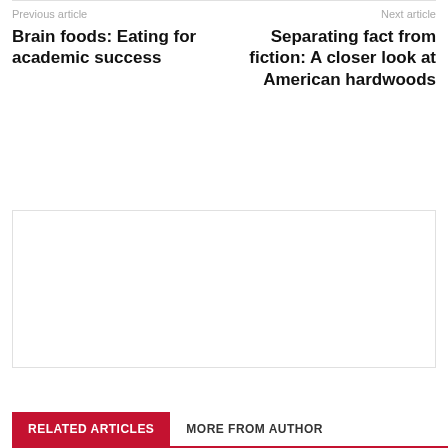Previous article
Brain foods: Eating for academic success
Next article
Separating fact from fiction: A closer look at American hardwoods
[Figure (other): Empty advertisement box with light border]
RELATED ARTICLES   MORE FROM AUTHOR